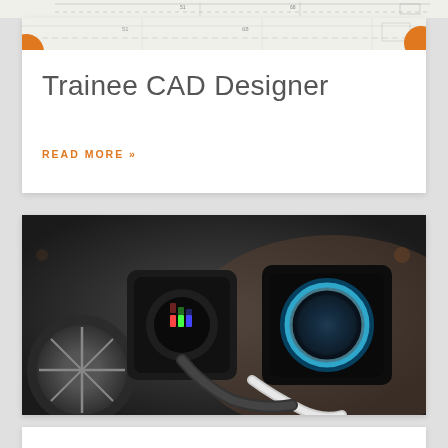[Figure (illustration): CAD drawing strip at top of page with dashed lines and measurement annotations]
[Figure (illustration): Orange circle dot on left side of card]
[Figure (illustration): Orange circle dot on right side of card header]
Trainee CAD Designer
READ MORE »
[Figure (photo): Close-up photograph of an electric vehicle charging port with a charging cable plugged in, showing blue LED ring around the port and colorful LED indicators on the cable connector. Car wheel visible in background.]
[Figure (illustration): Bottom white card strip partially visible]